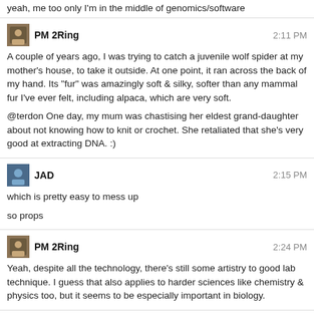yeah, me too only I'm in the middle of genomics/software
PM 2Ring  2:11 PM
A couple of years ago, I was trying to catch a juvenile wolf spider at my mother's house, to take it outside. At one point, it ran across the back of my hand. Its "fur" was amazingly soft & silky, softer than any mammal fur I've ever felt, including alpaca, which are very soft.
@terdon One day, my mum was chastising her eldest grand-daughter about not knowing how to knit or crochet. She retaliated that she's very good at extracting DNA. :)
JAD  2:15 PM
which is pretty easy to mess up
so props
PM 2Ring  2:24 PM
Yeah, despite all the technology, there's still some artistry to good lab technique. I guess that also applies to harder sciences like chemistry & physics too, but it seems to be especially important in biology.
avazula  2:27 PM
@JAD Me too! Except I did electronics > data engineering > software :p
Although I'm more of a fullstack developer right now (which is not what I signed for, but still, it's fun). I should go back to ML in the next couple months
terdon  2:53 PM
@PM2Ring ha! Nice :)
@PM2Ring woah, what? Define "harder".
In what universe is chemistry "harder" than biology?